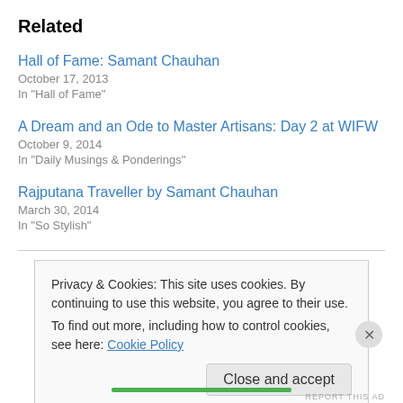Related
Hall of Fame: Samant Chauhan
October 17, 2013
In "Hall of Fame"
A Dream and an Ode to Master Artisans: Day 2 at WIFW
October 9, 2014
In "Daily Musings & Ponderings"
Rajputana Traveller by Samant Chauhan
March 30, 2014
In "So Stylish"
Privacy & Cookies: This site uses cookies. By continuing to use this website, you agree to their use.
To find out more, including how to control cookies, see here: Cookie Policy